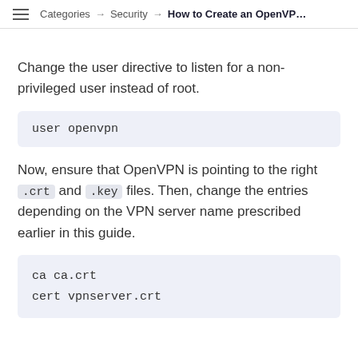Categories → Security → How to Create an OpenVP...
Change the user directive to listen for a non-privileged user instead of root.
Now, ensure that OpenVPN is pointing to the right .crt and .key files. Then, change the entries depending on the VPN server name prescribed earlier in this guide.